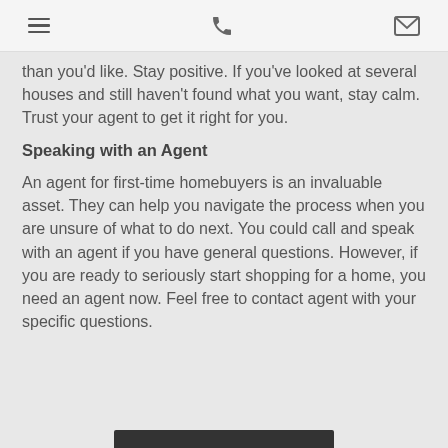[navigation icons: menu, phone, mail]
than you'd like. Stay positive. If you've looked at several houses and still haven't found what you want, stay calm. Trust your agent to get it right for you.
Speaking with an Agent
An agent for first-time homebuyers is an invaluable asset. They can help you navigate the process when you are unsure of what to do next. You could call and speak with an agent if you have general questions. However, if you are ready to seriously start shopping for a home, you need an agent now. Feel free to contact agent with your specific questions.